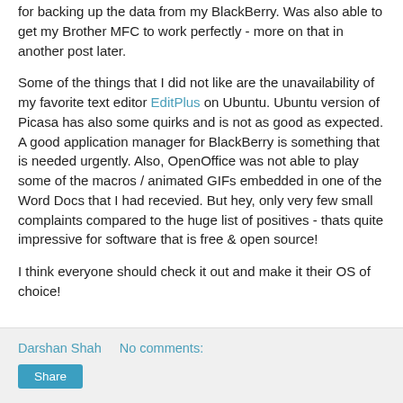for backing up the data from my BlackBerry. Was also able to get my Brother MFC to work perfectly - more on that in another post later.
Some of the things that I did not like are the unavailability of my favorite text editor EditPlus on Ubuntu. Ubuntu version of Picasa has also some quirks and is not as good as expected. A good application manager for BlackBerry is something that is needed urgently. Also, OpenOffice was not able to play some of the macros / animated GIFs embedded in one of the Word Docs that I had recevied. But hey, only very few small complaints compared to the huge list of positives - thats quite impressive for software that is free & open source!
I think everyone should check it out and make it their OS of choice!
Darshan Shah   No comments:   Share